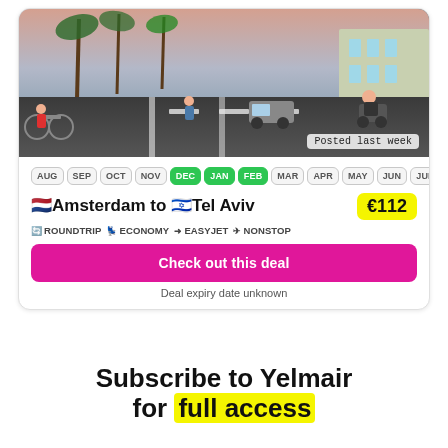[Figure (photo): Street scene photo showing a busy road with cyclists, pedestrians, palm trees, and vehicles. Posted last week badge visible.]
AUG SEP OCT NOV DEC JAN FEB MAR APR MAY JUN JUL (DEC, JAN, FEB highlighted in green)
🇳🇱Amsterdam to 🇮🇱Tel Aviv €112
✈ ROUNDTRIP ✈ ECONOMY ✈ EASYJET ✈ NONSTOP
Check out this deal
Deal expiry date unknown
Subscribe to Yelmair for full access